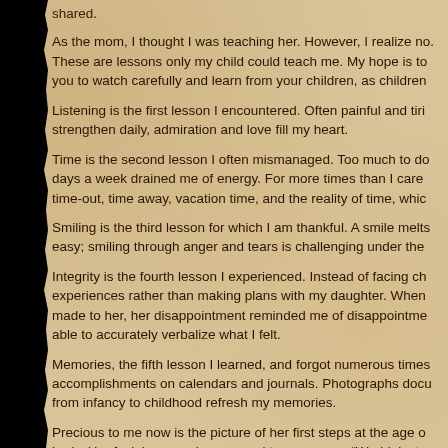shared.
As the mom, I thought I was teaching her. However, I realize no. These are lessons only my child could teach me. My hope is to you to watch carefully and learn from your children, as children
Listening is the first lesson I encountered. Often painful and tiri strengthen daily, admiration and love fill my heart.
Time is the second lesson I often mismanaged. Too much to do days a week drained me of energy. For more times than I care time-out, time away, vacation time, and the reality of time, whic
Smiling is the third lesson for which I am thankful. A smile melts easy; smiling through anger and tears is challenging under the
Integrity is the fourth lesson I experienced. Instead of facing ch experiences rather than making plans with my daughter. When made to her, her disappointment reminded me of disappointme able to accurately verbalize what I felt.
Memories, the fifth lesson I learned, and forgot numerous times accomplishments on calendars and journals. Photographs docu from infancy to childhood refresh my memories.
Precious to me now is the picture of her first steps at the age o body. Her facial expression seemed to announce, “World, just w
Of course, the sixth lesson is family. Parents, sisters, brothers, neighbors gave intrinsic support which sustains me.